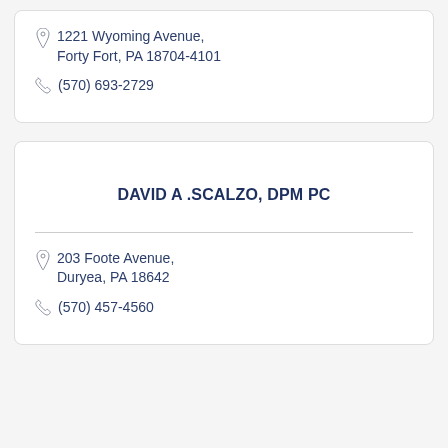1221 Wyoming Avenue, Forty Fort, PA 18704-4101
(570) 693-2729
DAVID A .SCALZO, DPM PC
203 Foote Avenue, Duryea, PA 18642
(570) 457-4560